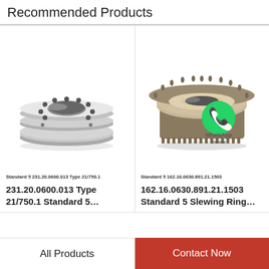Recommended Products
[Figure (photo): Stacked slewing ring / flange bearing assembly, machined steel, multiple rings with bolt holes, silver metallic finish]
Standard 5 231.20.0600.013 Type 21/750.1
231.20.0600.013 Type 21/750.1 Standard 5…
[Figure (photo): Slewing ring bearing with external gear teeth, bronze/gold and silver metallic finish, with WhatsApp Online overlay badge]
Standard 5 162.16.0630.891.21.1503
162.16.0630.891.21.1503 Standard 5 Slewing Ring…
All Products
Contact Now